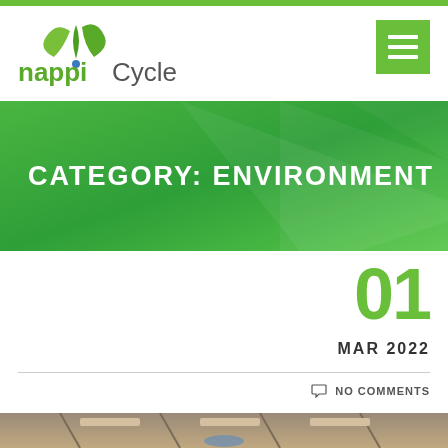[Figure (logo): Nappi Cycle logo with green leaf and blue dot, text 'nappi Cycle']
[Figure (other): Green hamburger menu button icon]
CATEGORY: ENVIRONMENT
01
MAR 2022
NO COMMENTS
[Figure (photo): Interior warehouse or industrial building photo showing ceiling and lighting]